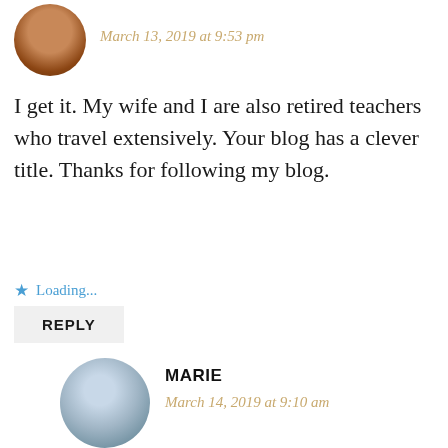[Figure (photo): Circular avatar photo of a person, top-left corner]
March 13, 2019 at 9:53 pm
I get it. My wife and I are also retired teachers who travel extensively. Your blog has a clever title. Thanks for following my blog.
★ Loading...
REPLY
[Figure (photo): Circular avatar photo of Marie, a woman with sunglasses on a beach]
MARIE
March 14, 2019 at 9:10 am
Thank you – we're both lucky that our career paths allowed us indulge in our passion for